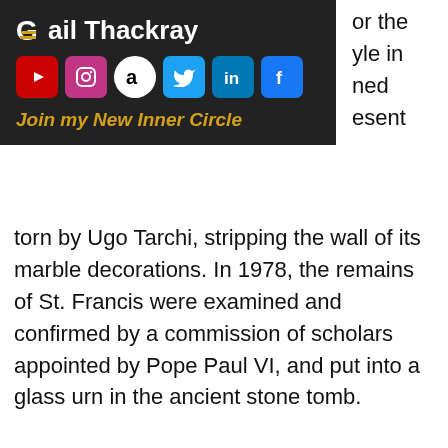Gail Thackray — social media banner with YouTube, Instagram, Amazon, Twitter, LinkedIn, Facebook icons and 'Join my New Inner Circle' link
torn by Ugo Tarchi, stripping the wall of its marble decorations. In 1978, the remains of St. Francis were examined and confirmed by a commission of scholars appointed by Pope Paul VI, and put into a glass urn in the ancient stone tomb.
Come visit with us to Italy where St. Francis lived and died and was proclaimed a saint
#spiritualjourneys #SpiritualPlaces
SPIRIT